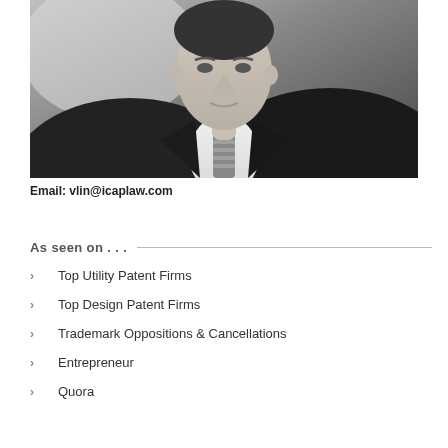[Figure (photo): Black and white professional headshot photo of a man in a dark suit and striped tie, cropped at upper body/face area]
Email: vlin@icaplaw.com
As seen on . . .
Top Utility Patent Firms
Top Design Patent Firms
Trademark Oppositions & Cancellations
Entrepreneur
Quora